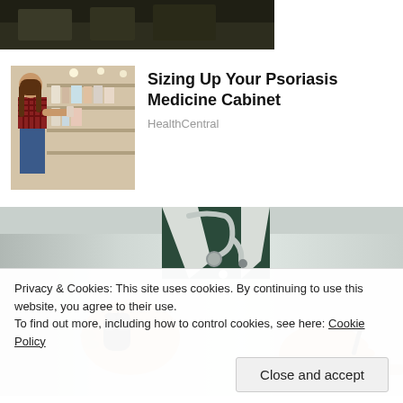[Figure (photo): Top cropped image strip showing dark outdoor scene]
[Figure (photo): Woman in a plaid shirt shopping in a pharmacy/store aisle, looking at products on shelves]
Sizing Up Your Psoriasis Medicine Cabinet
HealthCentral
[Figure (photo): Doctor in white lab coat holding a computer mouse, with stethoscope visible]
Privacy & Cookies: This site uses cookies. By continuing to use this website, you agree to their use.
To find out more, including how to control cookies, see here: Cookie Policy
Close and accept